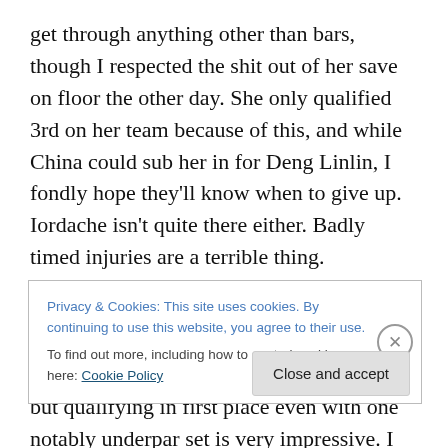get through anything other than bars, though I respected the shit out of her save on floor the other day. She only qualified 3rd on her team because of this, and while China could sub her in for Deng Linlin, I fondly hope they'll know when to give up. Iordache isn't quite there either. Badly timed injuries are a terrible thing.

Anyways, this would appear to be Komova's to lose. If she hits, nobody can beat her. I seem to have written this before, but qualifying in first place even with one notably underpar set is very impressive. I don't expect her to
Privacy & Cookies: This site uses cookies. By continuing to use this website, you agree to their use.
To find out more, including how to control cookies, see here: Cookie Policy
Close and accept